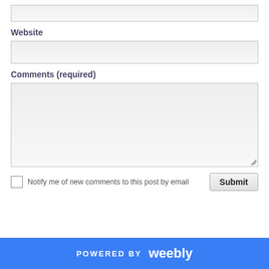[Figure (screenshot): A web form input box (top, partially visible), a Website label with input field, a Comments (required) label with textarea, a checkbox with notification text and a Submit button, and a Weebly-powered footer bar.]
Website
Comments (required)
Notify me of new comments to this post by email
Submit
POWERED BY weebly